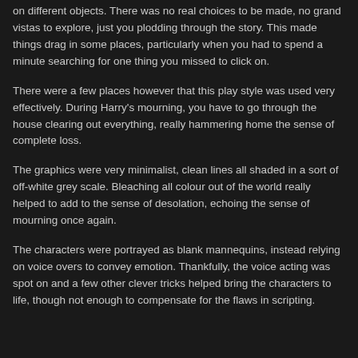on different objects. There was no real choices to be made, no grand vistas to explore, just you plodding through the story. This made things drag in some places, particularly when you had to spend a minute searching for one thing you missed to click on.
There were a few places however that this play style was used very effectively. During Harry's mourning, you have to go through the house clearing out everything, really hammering home the sense of complete loss.
The graphics were very minimalist, clean lines all shaded in a sort of off-white grey scale. Bleaching all colour out of the world really helped to add to the sense of desolation, echoing the sense of mourning once again.
The characters were portrayed as blank mannequins, instead relying on voice overs to convey emotion. Thankfully, the voice acting was spot on and a few other clever tricks helped bring the characters to life, though not enough to compensate for the flaws in scripting.